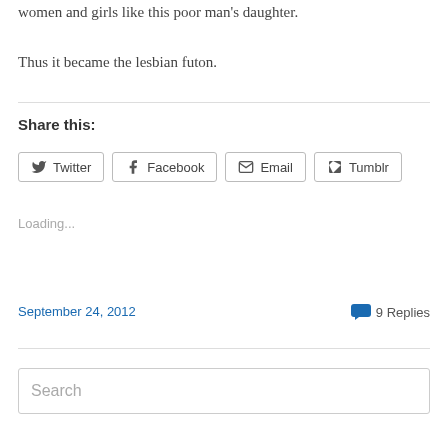women and girls like this poor man's daughter.
Thus it became the lesbian futon.
Share this:
Loading...
September 24, 2012
9 Replies